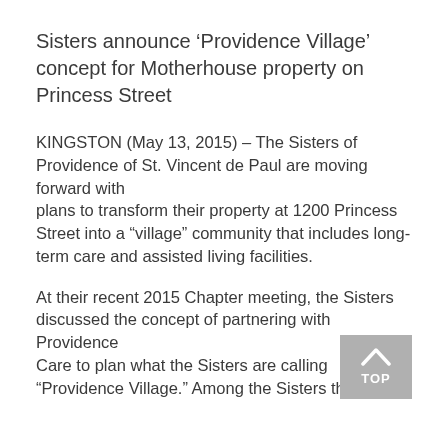Sisters announce ‘Providence Village’ concept for Motherhouse property on Princess Street
KINGSTON (May 13, 2015) – The Sisters of Providence of St. Vincent de Paul are moving forward with plans to transform their property at 1200 Princess Street into a “village” community that includes long-term care and assisted living facilities.
At their recent 2015 Chapter meeting, the Sisters discussed the concept of partnering with Providence Care to plan what the Sisters are calling “Providence Village.” Among the Sisters there was